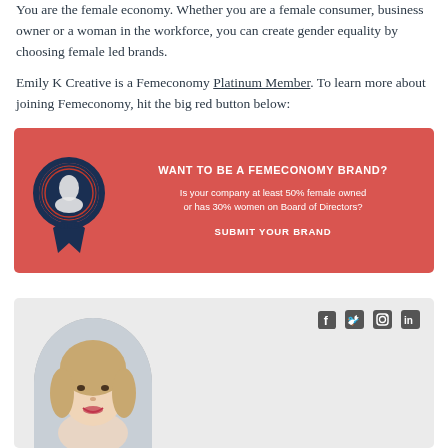You are the female economy. Whether you are a female consumer, business owner or a woman in the workforce, you can create gender equality by choosing female led brands.
Emily K Creative is a Femeconomy Platinum Member. To learn more about joining Femeconomy, hit the big red button below:
[Figure (infographic): Red banner with a dark navy badge/seal icon on the left and text on the right reading: WANT TO BE A FEMECONOMY BRAND? Is your company at least 50% female owned or has 30% women on Board of Directors? SUBMIT YOUR BRAND]
[Figure (photo): Author box with light gray background, social media icons (Facebook, Twitter, Instagram, LinkedIn) at the top right, and a circular portrait photo of a woman with blonde hair and a red lip on the lower left.]